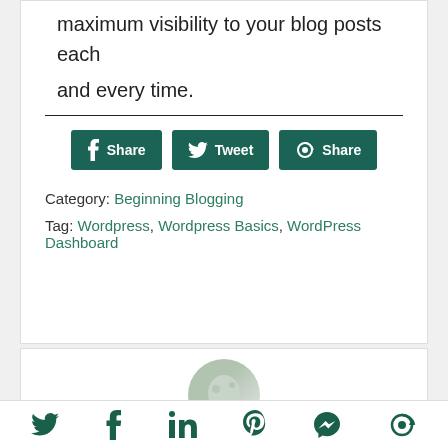maximum visibility to your blog posts each and every time.
[Figure (infographic): Social share buttons: Facebook Share, Twitter Tweet, and a third Share button on dark teal background]
Category: Beginning Blogging
Tag: Wordpress, Wordpress Basics, WordPress Dashboard
[Figure (photo): Author avatar: cropped circular photo of a person with grey hair and plants in background]
[Figure (infographic): Bottom social bar with Twitter, Facebook, LinkedIn, Pinterest, Messenger, and share icons in dark teal]